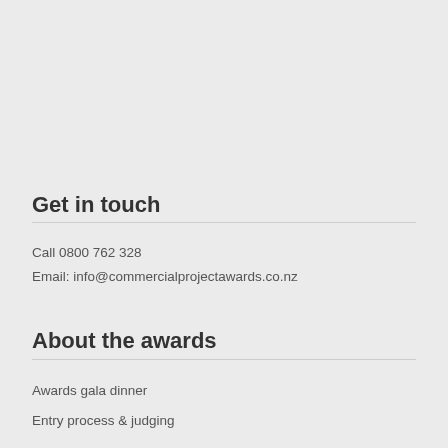Get in touch
Call 0800 762 328
Email: info@commercialprojectawards.co.nz
About the awards
Awards gala dinner
Entry process & judging